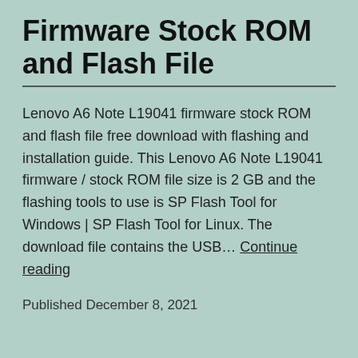Firmware Stock ROM and Flash File
Lenovo A6 Note L19041 firmware stock ROM and flash file free download with flashing and installation guide. This Lenovo A6 Note L19041 firmware / stock ROM file size is 2 GB and the flashing tools to use is SP Flash Tool for Windows | SP Flash Tool for Linux. The download file contains the USB… Continue reading
Published December 8, 2021